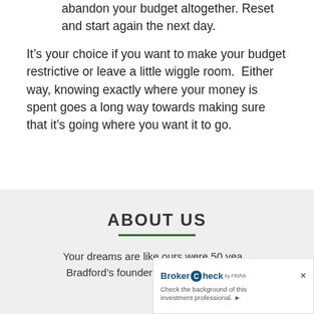abandon your budget altogether. Reset and start again the next day.
It's your choice if you want to make your budget restrictive or leave a little wiggle room.  Either way, knowing exactly where your money is spent goes a long way towards making sure that it's going where you want it to go.
ABOUT US
Your dreams are like ours were 50 yea... Bradford's founders started with a vis...